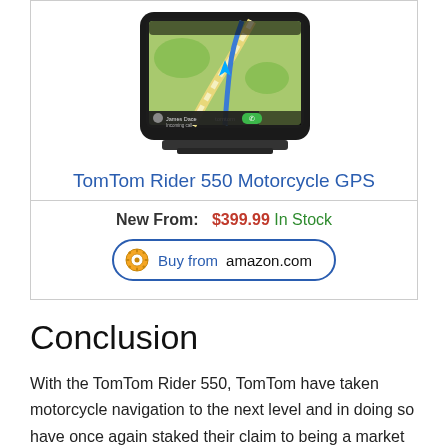[Figure (photo): TomTom Rider 550 motorcycle GPS device showing map navigation screen]
TomTom Rider 550 Motorcycle GPS
New From:  $399.99  In Stock
[Figure (other): Buy from amazon.com button with Amazon logo]
Conclusion
With the TomTom Rider 550, TomTom have taken motorcycle navigation to the next level and in doing so have once again staked their claim to being a market leader. The Rider 550 Rider offers excellent all-round